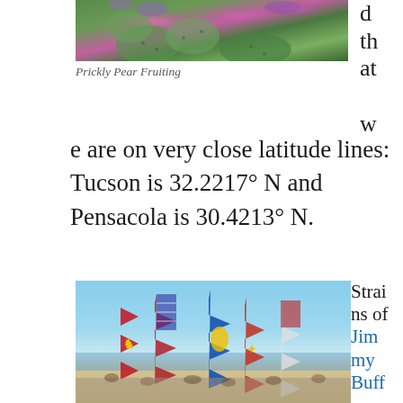[Figure (photo): Photo of prickly pear cactus in bloom with pink/purple flowers and green pads]
Prickly Pear Fruiting
d th at w
e are on very close latitude lines: Tucson is 32.2217° N and Pensacola is 30.4213° N.
[Figure (photo): Photo of colorful flag banners at a beach event]
Strains of Jimmy Buff